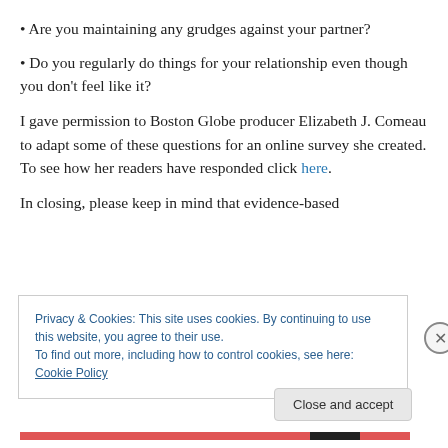Are you maintaining any grudges against your partner?
Do you regularly do things for your relationship even though you don’t feel like it?
I gave permission to Boston Globe producer Elizabeth J. Comeau to adapt some of these questions for an online survey she created. To see how her readers have responded click here.
In closing, please keep in mind that evidence-based
Privacy & Cookies: This site uses cookies. By continuing to use this website, you agree to their use.
To find out more, including how to control cookies, see here: Cookie Policy
Close and accept